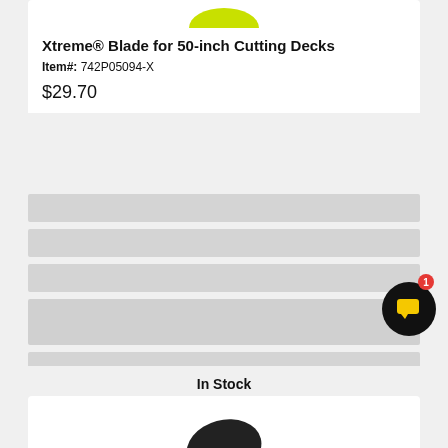[Figure (photo): Partial product image at top of card, showing yellow-green blade arc]
Xtreme® Blade for 50-inch Cutting Decks
Item#: 742P05094-X
$29.70
[Figure (other): Five gray placeholder loading bars]
In Stock
[Figure (other): Black circular chat/notification button with yellow chat icon and red badge showing number 1]
[Figure (photo): Bottom portion of next product card showing dark blade image]